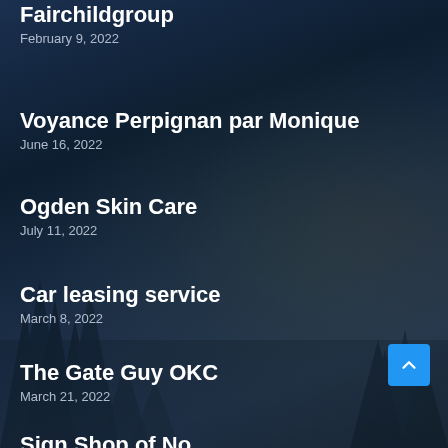Fairchildgroup
February 9, 2022
Voyance Perpignan par Monique
June 16, 2022
Ogden Skin Care
July 11, 2022
Car leasing service
March 8, 2022
The Gate Guy OKC
March 21, 2022
Sign Shop of No…